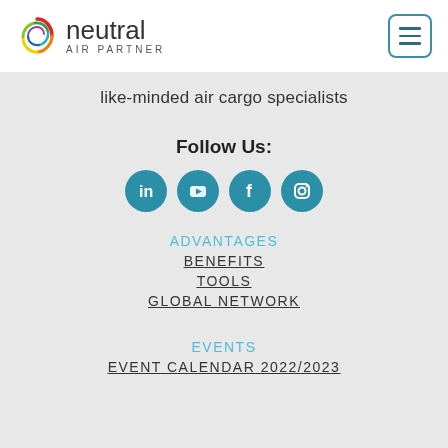[Figure (logo): Neutral Air Partner logo with colorful swirl icon and text 'neutral AIR PARTNER']
[Figure (other): Hamburger menu button with three horizontal lines in a rounded square border (teal/blue)]
like-minded air cargo specialists
Follow Us:
[Figure (other): Four social media icons in teal circles: LinkedIn, YouTube, Facebook, Instagram]
ADVANTAGES
BENEFITS
TOOLS
GLOBAL NETWORK
EVENTS
EVENT CALENDAR 2022/2023